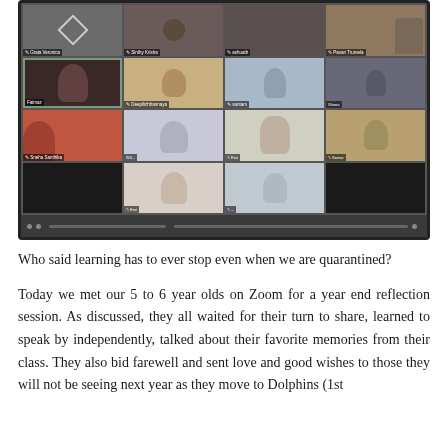[Figure (screenshot): A Zoom video call screenshot showing a 4x4 grid of video tiles with children and adults participating in an online class session. Participants include Graia Veronica, Sinthy Krisha, Ashuath, Pavan Trumela, Faimaz, Deepilichhannaya, Santam, and others. Some tiles show children's faces, some show adults, one tile has a diamond/rhombus placeholder icon, and one tile is blacked out.]
Who said learning has to ever stop even when we are quarantined?
Today we met our 5 to 6 year olds on Zoom for a year end reflection session. As discussed, they all waited for their turn to share, learned to speak by independently, talked about their favorite memories from their class. They also bid farewell and sent love and good wishes to those they will not be seeing next year as they move to Dolphins (1st